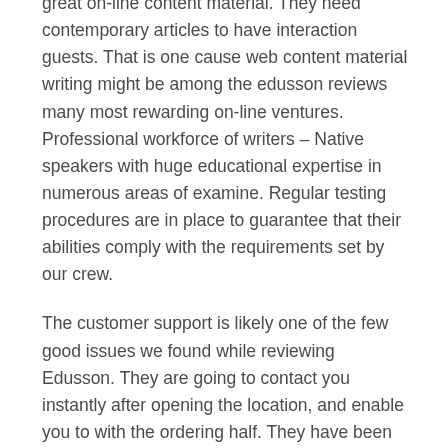great on-line content material. They need contemporary articles to have interaction guests. That is one cause web content material writing might be among the edusson reviews many most rewarding on-line ventures. Professional workforce of writers – Native speakers with huge educational expertise in numerous areas of examine. Regular testing procedures are in place to guarantee that their abilities comply with the requirements set by our crew.
The customer support is likely one of the few good issues we found while reviewing Edusson. They are going to contact you instantly after opening the location, and enable you to with the ordering half. They have been actually useful to us, however because it turns out, has no money return ensures, and can solely mediate by requesting a free revision from the writer you've chosen for your assignment.
As there are not any prices, there are no discounts